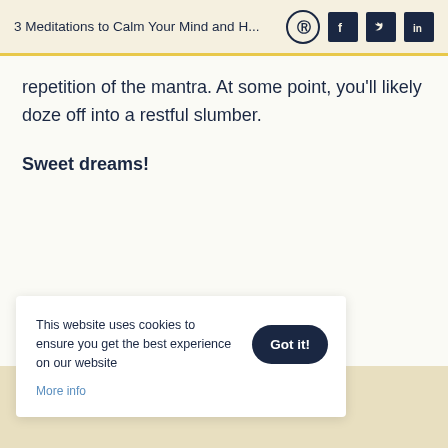3 Meditations to Calm Your Mind and H...
repetition of the mantra. At some point, you'll likely doze off into a restful slumber.
Sweet dreams!
This website uses cookies to ensure you get the best experience on our website
More info